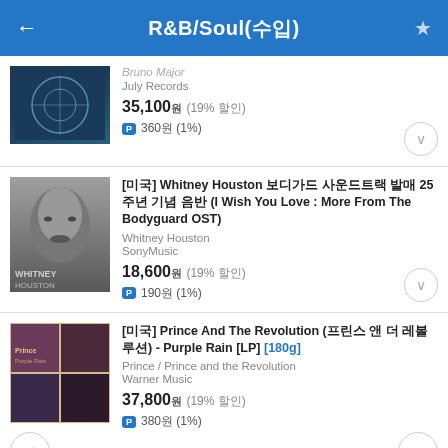R&B/Soul(수입)
Bruno Major / July Records — 35,100원 (19% 할인) / P 360원 (1%)
[미국] Whitney Houston 보디가드 사운드트랙 발매 25주년 기념 음반 (I Wish You Love : More From The Bodyguard OST) / Whitney Houston / SonyMusic — 18,600원 (19% 할인) / P 190원 (1%)
[미국] Prince And The Revolution (프린스 앤 더 레볼루션) - Purple Rain [LP] [180g] / Prince / Prince and the Revolution / Warner Music — 37,800원 (19% 할인) / P 380원 (1%)